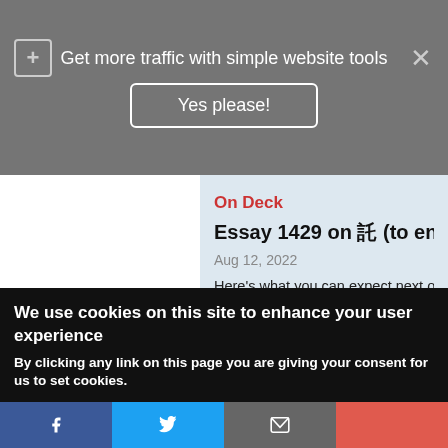Get more traffic with simple website tools
Yes please!
On Deck
Essay 1429 on 託 (to entrust) Is Co
Aug 12, 2022
Here's what you can expect next on Joy o' Kan
August 19: Essay 1429 on 託 (to entrust)
READ MORE
We use cookies on this site to enhance your user experience
By clicking any link on this page you are giving your consent for us to set cookies.